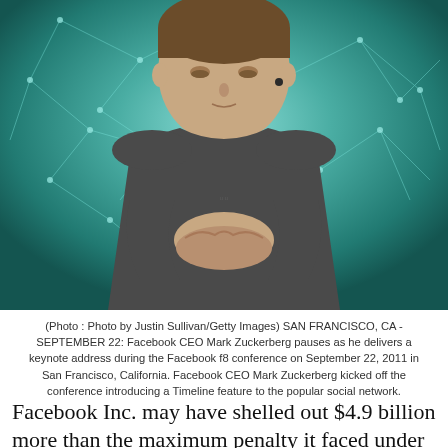[Figure (photo): Photo of Facebook CEO Mark Zuckerberg in a dark grey t-shirt with hands clasped, looking downward on a stage with a teal/cyan neural network pattern background]
(Photo : Photo by Justin Sullivan/Getty Images) SAN FRANCISCO, CA - SEPTEMBER 22: Facebook CEO Mark Zuckerberg pauses as he delivers a keynote address during the Facebook f8 conference on September 22, 2011 in San Francisco, California. Facebook CEO Mark Zuckerberg kicked off the conference introducing a Timeline feature to the popular social network.
Facebook Inc. may have shelled out $4.9 billion more than the maximum penalty it faced under a settlement agreement